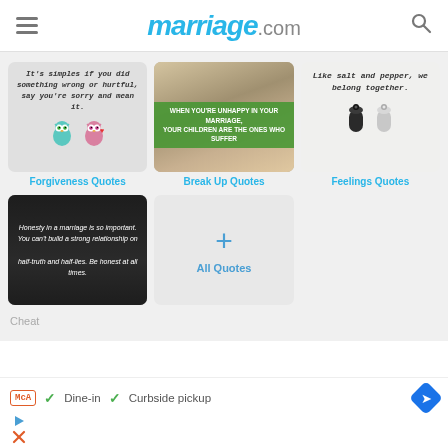marriage.com
[Figure (illustration): Forgiveness Quotes card - two cartoon owls with quote text about saying sorry]
Forgiveness Quotes
[Figure (photo): Break Up Quotes card - sad woman with green overlay text: WHEN YOU'RE UNHAPPY IN YOUR MARRIAGE, YOUR CHILDREN ARE THE ONES WHO SUFFER]
Break Up Quotes
[Figure (illustration): Feelings Quotes card - salt and pepper shakers with text: Like salt and pepper, we belong together.]
Feelings Quotes
[Figure (illustration): Honesty quote on dark background: Honesty in a marriage is so important. You can't build a strong relationship on half-truth and half-lies. Be honest at all times.]
[Figure (other): All Quotes button with plus icon]
All Quotes
Cheating
Dine-in   Curbside pickup